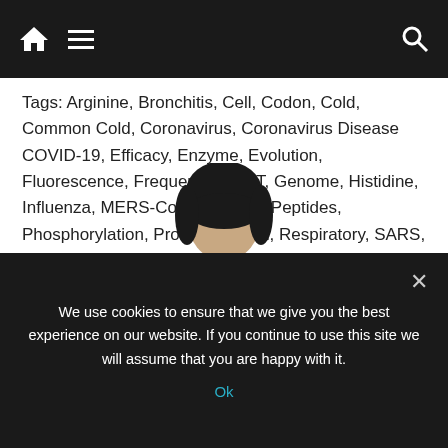Navigation bar with home icon, menu icon, and search icon
Tags: Arginine, Bronchitis, Cell, Codon, Cold, Common Cold, Coronavirus, Coronavirus Disease COVID-19, Efficacy, Enzyme, Evolution, Fluorescence, Frequency, FRET, Genome, Histidine, Influenza, MERS-CoV, Mutation, Peptides, Phosphorylation, Proline, Protein, Respiratory, SARS, SARS-CoV-2, Serine, Severe Acute Respiratory, Severe Acute Respiratory Syndrome, Spike Protein, Syndrome, Virus
Comments (0)
[Figure (photo): Partial view of a person's head (dark hair) in the lower center of the content area]
We use cookies to ensure that we give you the best experience on our website. If you continue to use this site we will assume that you are happy with it.
Ok